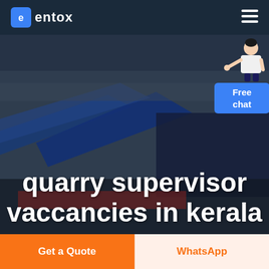entox
[Figure (photo): Aerial/drone photograph of industrial warehouse or manufacturing facility with blue roof panels, overlaid with dark tint serving as hero image background]
[Figure (illustration): Free chat widget with a person/agent illustration and blue button labeled 'Free chat']
quarry supervisor vaccancies in kerala
Get a Quote
WhatsApp